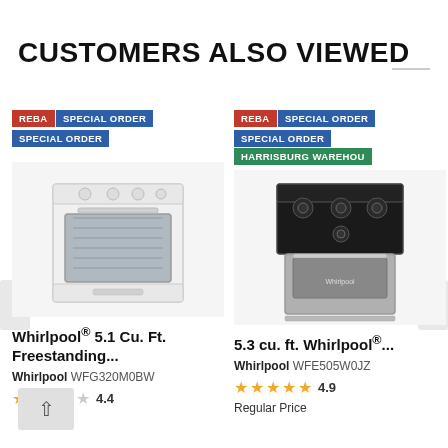CUSTOMERS ALSO VIEWED
[Figure (photo): Product card for Whirlpool 5.1 Cu. Ft. Freestanding gas range in white, with REBA, SPECIAL ORDER badges and product image of white oven range]
[Figure (photo): Product card for 5.3 cu. ft. Whirlpool range in stainless/black, with REBA, SPECIAL ORDER, HARRISBURG WAREHOUSE badges and product image of black stainless oven range]
Whirlpool® 5.1 Cu. Ft. Freestanding...
Whirlpool WFG320M0BW
5.3 cu. ft. Whirlpool®...
Whirlpool WFE505W0JZ
4.4
4.9
Regular Price